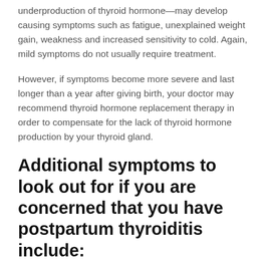underproduction of thyroid hormone—may develop causing symptoms such as fatigue, unexplained weight gain, weakness and increased sensitivity to cold. Again, mild symptoms do not usually require treatment.
However, if symptoms become more severe and last longer than a year after giving birth, your doctor may recommend thyroid hormone replacement therapy in order to compensate for the lack of thyroid hormone production by your thyroid gland.
Additional symptoms to look out for if you are concerned that you have postpartum thyroiditis include:
Hair loss
Decreased milk production (in women who are